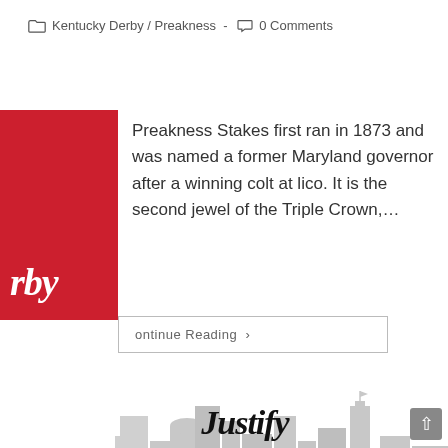Kentucky Derby / Preakness - 0 Comments
Preakness Stakes first ran in 1873 and was named a former Maryland governor after a winning colt at lico. It is the second jewel of the Triple Crown,…
Continue Reading ›
[Figure (infographic): Infographic showing 'Justify Wins 144th Kentucky Derby' with stylized script text, a red ribbon banner reading 'KENTUCKY DERBY', and an illustrated city skyline background with horses and a barn in the foreground.]